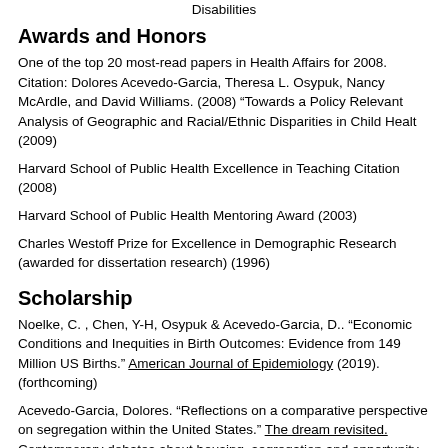Disabilities
Awards and Honors
One of the top 20 most-read papers in Health Affairs for 2008. Citation: Dolores Acevedo-Garcia, Theresa L. Osypuk, Nancy McArdle, and David Williams. (2008) “Towards a Policy Relevant Analysis of Geographic and Racial/Ethnic Disparities in Child Healt (2009)
Harvard School of Public Health Excellence in Teaching Citation (2008)
Harvard School of Public Health Mentoring Award (2003)
Charles Westoff Prize for Excellence in Demographic Research (awarded for dissertation research) (1996)
Scholarship
Noelke, C. , Chen, Y-H, Osypuk & Acevedo-Garcia, D.. "Economic Conditions and Inequities in Birth Outcomes: Evidence from 149 Million US Births." American Journal of Epidemiology (2019). (forthcoming)
Acevedo-Garcia, Dolores. "Reflections on a comparative perspective on segregation within the United States." The dream revisited. Contemporary debates about housing, segregation and opportunity. Ed. Ingrid Gould